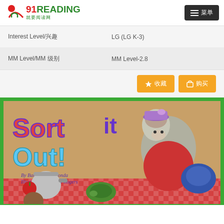91READING 就要阅读网
| Field | Value |
| --- | --- |
| Interest Level/兴趣 | LG (LG K-3) |
| MM Level/MM 级别 | MM Level-2.8 |
[Figure (illustration): Book cover of 'Sort it Out!' by Barbara Mariconda, illustrated by Sherry Rogers. Shows a mouse character in red jacket and hat, surrounded by a kettle, turtle, yarn, apple, and pinecone on a checkered tablecloth.]